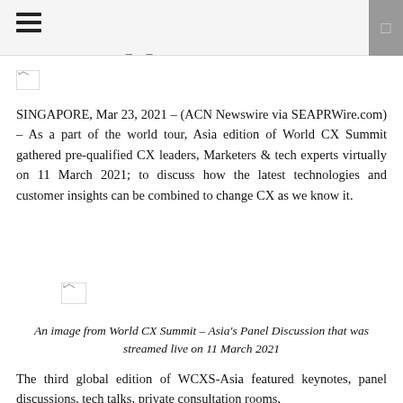[Figure (other): Broken image placeholder (small)]
SINGAPORE, Mar 23, 2021 – (ACN Newswire via SEAPRWire.com) – As a part of the world tour, Asia edition of World CX Summit gathered pre-qualified CX leaders, Marketers & tech experts virtually on 11 March 2021; to discuss how the latest technologies and customer insights can be combined to change CX as we know it.
[Figure (other): Broken image placeholder for World CX Summit Asia Panel Discussion]
An image from World CX Summit – Asia's Panel Discussion that was streamed live on 11 March 2021
The third global edition of WCXS-Asia featured keynotes, panel discussions, tech talks, private consultation rooms,